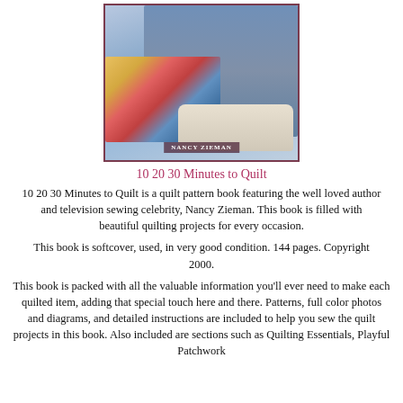[Figure (photo): Book cover photo showing Nancy Zieman, a woman in a blue outfit, with a colorful quilt and a white wicker basket. A name bar reads 'NANCY ZIEMAN' at the bottom of the image.]
10 20 30 Minutes to Quilt
10 20 30 Minutes to Quilt is a quilt pattern book featuring the well loved author and television sewing celebrity, Nancy Zieman. This book is filled with beautiful quilting projects for every occasion.
This book is softcover, used, in very good condition. 144 pages. Copyright 2000.
This book is packed with all the valuable information you'll ever need to make each quilted item, adding that special touch here and there. Patterns, full color photos and diagrams, and detailed instructions are included to help you sew the quilt projects in this book. Also included are sections such as Quilting Essentials, Playful Patchwork